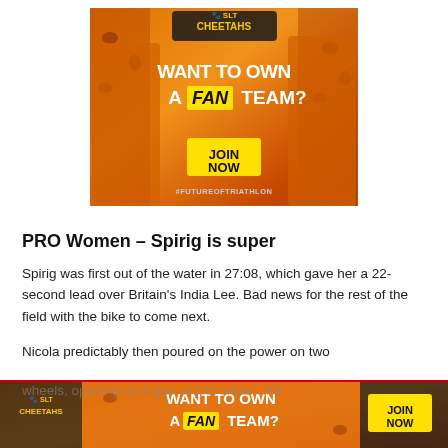[Figure (photo): SLT Cheetahs advertisement banner: orange/yellow background with two male triathletes, bold text 'WANT TO OWN A FAN TEAM?', yellow 'JOIN NOW' button, '#FUTUREOFTRIATHLON' hashtag at bottom]
PRO Women – Spirig is super
Spirig was first out of the water in 27:08, which gave her a 22-second lead over Britain's India Lee. Bad news for the rest of the field with the bike to come next.
Nicola predictably then poured on the power on two wheels, opening up a gap of just under...AS
[Figure (photo): SLT Cheetahs advertisement banner (smaller, bottom of page): 'WANT TO OWN A FAN TEAM?' with JOIN NOW button]